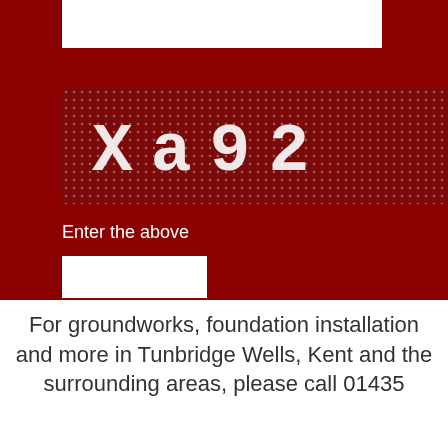[Figure (screenshot): CAPTCHA image showing characters 'Xa92' rendered in pixelated/grid dot-matrix font on a dark red background with a white dot grid pattern]
Enter the above
[Figure (screenshot): White text input box for entering CAPTCHA]
[Figure (screenshot): Submit button with rounded corners on dark red background]
For groundworks, foundation installation and more in Tunbridge Wells, Kent and the surrounding areas, please call 01435